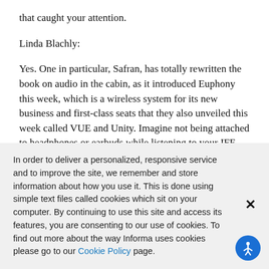that caught your attention.
Linda Blachly:
Yes. One in particular, Safran, has totally rewritten the book on audio in the cabin, as it introduced Euphony this week, which is a wireless system for its new business and first-class seats that they also unveiled this week called VUE and Unity. Imagine not being attached to headphones or earbuds while listening to your IFE. With the Euphony system
In order to deliver a personalized, responsive service and to improve the site, we remember and store information about how you use it. This is done using simple text files called cookies which sit on your computer. By continuing to use this site and access its features, you are consenting to our use of cookies. To find out more about the way Informa uses cookies please go to our Cookie Policy page.